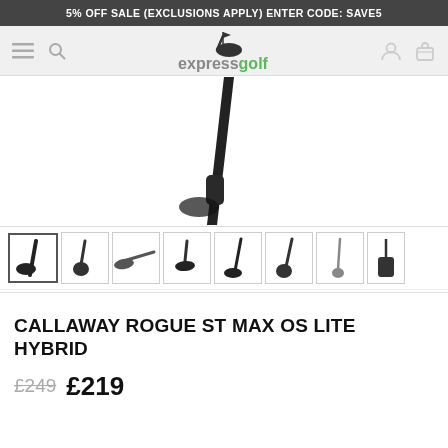5% OFF SALE (EXCLUSIONS APPLY) ENTER CODE: SAVE5
[Figure (logo): Express Golf logo with golf club and flag icon, 'express' in grey and 'golf' in green]
[Figure (photo): Close-up of Callaway Rogue ST Max OS Lite Hybrid golf club head and shaft in black]
[Figure (photo): Thumbnail strip showing 8 product images of the Callaway Rogue ST Max OS Lite Hybrid from various angles]
CALLAWAY ROGUE ST MAX OS LITE HYBRID
£249 £219